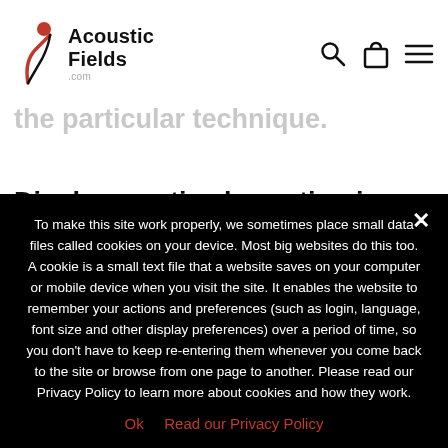Acoustic Fields .com [navigation with search, bag, and menu icons]
...to amplify or compress and that too for the frequencies that...the particular technique.
Diaphragmatic absorption is another possibility that uses a vibrating diaphragm or front wall that moves in sympathy to sound pressure energy exerted upon it. These are the two most...
To make this site work properly, we sometimes place small data files called cookies on your device. Most big websites do this too. A cookie is a small text file that a website saves on your computer or mobile device when you visit the site. It enables the website to remember your actions and preferences (such as login, language, font size and other display preferences) over a period of time, so you don't have to keep re-entering them whenever you come back to the site or browse from one page to another. Please read our Privacy Policy to learn more about cookies and how they work.
Ok   Read our Privacy Policy